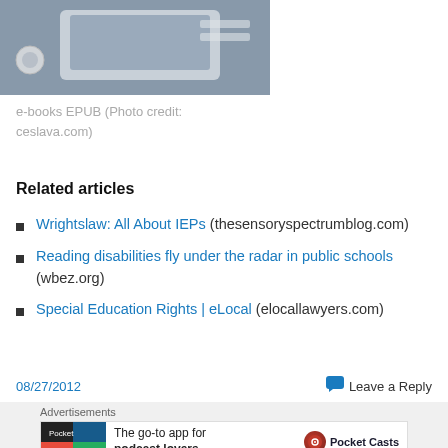[Figure (photo): Partial photo of an e-reader/digital device, cropped at top]
e-books EPUB (Photo credit: ceslava.com)
Related articles
Wrightslaw: All About IEPs (thesensoryspectrumblog.com)
Reading disabilities fly under the radar in public schools (wbez.org)
Special Education Rights | eLocal (elocallawyers.com)
08/27/2012   Leave a Reply
[Figure (other): Pocket Casts advertisement banner: The go-to app for podcast lovers.]